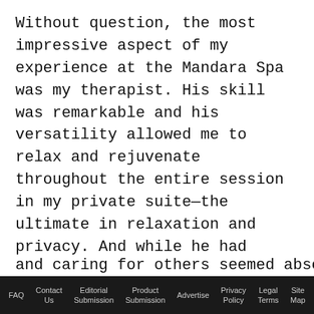Without question, the most impressive aspect of my experience at the Mandara Spa was my therapist. His skill was remarkable and his versatility allowed me to relax and rejuvenate throughout the entire session in my private suite—the ultimate in relaxation and privacy. And while he had certainly mastered the protocols of each treatment, I never had the feeling he was simply going through the motions. During the hours I spent with him, I sensed he was unfailingly mindful and attentive, constantly aware of my reactions and keenly concerned about my comfort. Like many of the people in this country, his pleasure in serving and caring for others seemed absolutely unforced
FAQ   Contact Us   Editorial Submission   Product Submission   Advertise   Privacy Policy   Legal Terms   Site Map